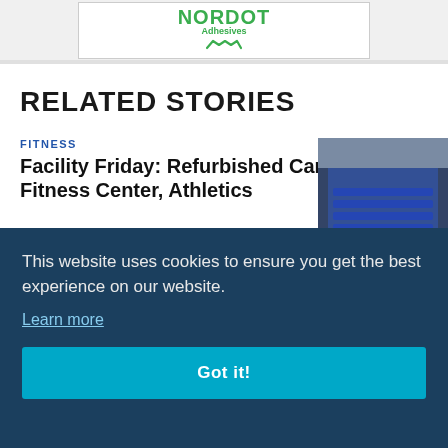[Figure (photo): NORDOT Adhesives advertisement banner with green logo and equipment/materials photos on a roofing surface]
RELATED STORIES
FITNESS
Facility Friday: Refurbished Campus Fitness Center, Athletics
[Figure (photo): Aerial view of a stadium with blue seating]
[Figure (photo): Building exterior with sign partially visible showing 'ED']
This website uses cookies to ensure you get the best experience on our website.
Learn more
Got it!